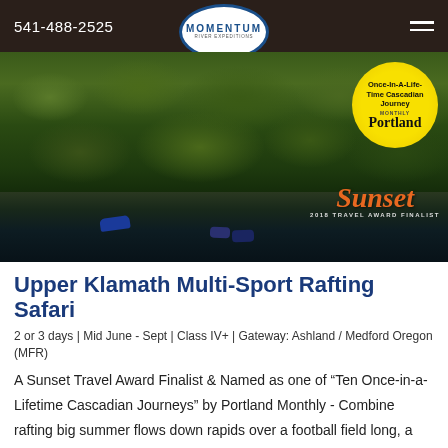541-488-2525 | Momentum River Expeditions
[Figure (photo): Aerial view of a river with rafters on dark water, surrounded by dense green forest/trees from above, with a Portland Monthly badge overlay saying 'Once-In-A-Life-Time Cascadian Journey' and a Sunset 2018 Travel Award Finalist logo overlay.]
Upper Klamath Multi-Sport Rafting Safari
2 or 3 days | Mid June - Sept | Class IV+ | Gateway: Ashland / Medford Oregon (MFR)
A Sunset Travel Award Finalist & Named as one of “Ten Once-in-a-Lifetime Cascadian Journeys” by Portland Monthly - Combine rafting big summer flows down rapids over a football field long, a comfortable ‘safari style’ backcountry camp (think glamping), &